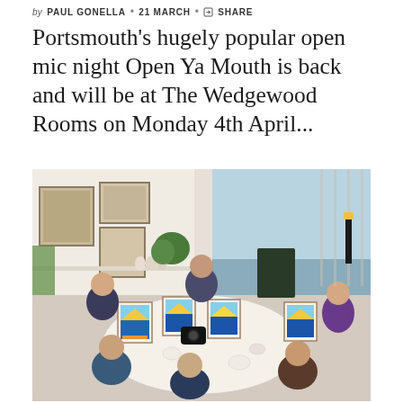by PAUL GONELLA • 21 MARCH • SHARE
Portsmouth's hugely popular open mic night Open Ya Mouth is back and will be at The Wedgewood Rooms on Monday 4th April...
[Figure (photo): Overhead view of people sitting around a cafe table painting canvases with colourful sunrise scenes. Several artworks with blue and yellow designs visible on small easels. The setting appears to be a bright cafe with artwork on walls and a large window looking onto the street.]